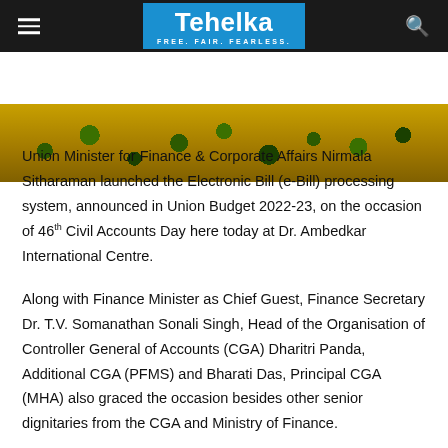Tehelka — FREE. FAIR. FEARLESS.
[Figure (photo): A photo strip showing a crowd scene with yellow flowers or garlands in the background, appearing to be an outdoor event or ceremony.]
Union Minister for Finance & Corporate Affairs Nirmala Sitharaman launched the Electronic Bill (e-Bill) processing system, announced in Union Budget 2022-23, on the occasion of 46th Civil Accounts Day here today at Dr. Ambedkar International Centre.
Along with Finance Minister as Chief Guest, Finance Secretary Dr. T.V. Somanathan Sonali Singh, Head of the Organisation of Controller General of Accounts (CGA) Dharitri Panda, Additional CGA (PFMS) and Bharati Das, Principal CGA (MHA) also graced the occasion besides other senior dignitaries from the CGA and Ministry of Finance.